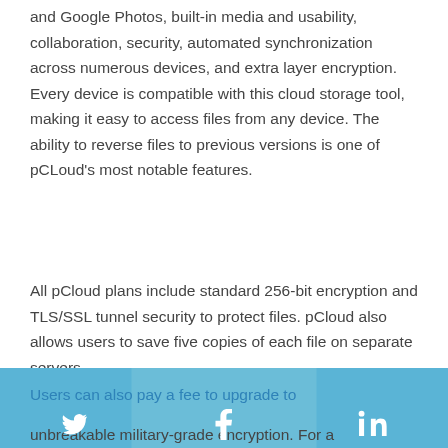and Google Photos, built-in media and usability, collaboration, security, automated synchronization across numerous devices, and extra layer encryption. Every device is compatible with this cloud storage tool, making it easy to access files from any device. The ability to reverse files to previous versions is one of pCLoud's most notable features.
All pCloud plans include standard 256-bit encryption and TLS/SSL tunnel security to protect files. pCloud also allows users to save five copies of each file on separate servers.
Users can also pay a fee to upgrade to unbreakable military-grade encryption. For a